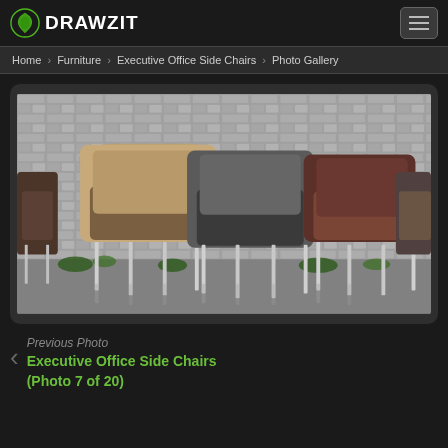DRAWZIT
Home › Furniture › Executive Office Side Chairs › Photo Gallery
[Figure (photo): Photo gallery image showing a row of modern executive office side chairs in various colors (tan, dark gray, brown) with chrome legs, positioned against a textured stone wall backdrop with indoor plants visible at the base.]
Previous Photo
Executive Office Side Chairs
(Photo 7 of 20)